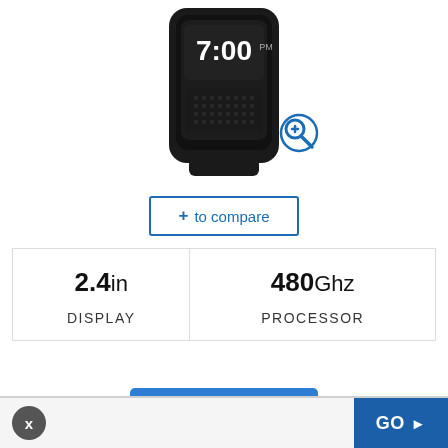[Figure (photo): Partial view of a black smartwatch/GPS device showing a digital clock display reading 7:00, with a blue magnifying glass zoom icon overlay in the bottom right corner of the device image.]
+ to compare
| 2.4in
DISPLAY | 480Ghz
PROCESSOR |
Check Price
x
GO ▶